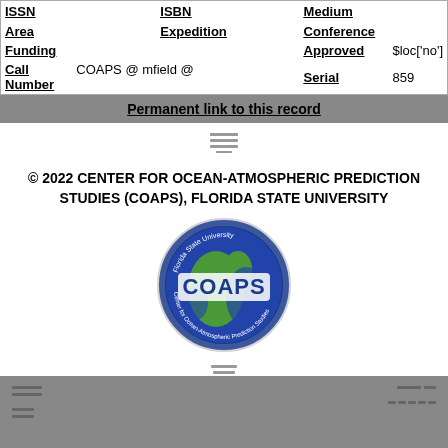| ISSN |  | ISBN |  | Medium |  |
| Area |  | Expedition |  | Conference |  |
| Funding |  |  |  | Approved | $loc['no'] |
| Call Number | COAPS @ mfield @ |  |  | Serial | 859 |
Permanent link to this record
[Figure (logo): Small stacked lines icon (menu/list icon)]
© 2022 CENTER FOR OCEAN-ATMOSPHERIC PREDICTION STUDIES (COAPS), FLORIDA STATE UNIVERSITY
[Figure (logo): COAPS Florida State University circular logo with globe and text]
[Figure (logo): Small stacked lines icon]
Footer bar with icons and navigation elements